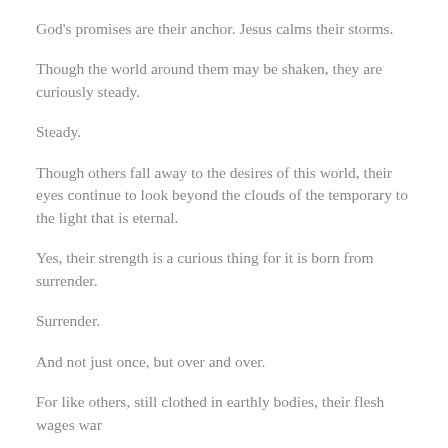God's promises are their anchor. Jesus calms their storms.
Though the world around them may be shaken, they are curiously steady.
Steady.
Though others fall away to the desires of this world, their eyes continue to look beyond the clouds of the temporary to the light that is eternal.
Yes, their strength is a curious thing for it is born from surrender.
Surrender.
And not just once, but over and over.
For like others, still clothed in earthly bodies, their flesh wages war